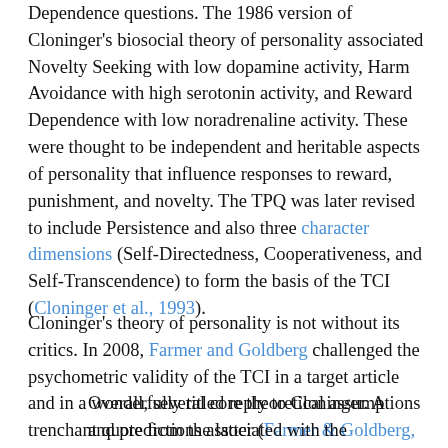Dependence questions. The 1986 version of Cloninger's biosocial theory of personality associated Novelty Seeking with low dopamine activity, Harm Avoidance with high serotonin activity, and Reward Dependence with low noradrenaline activity. These were thought to be independent and heritable aspects of personality that influence responses to reward, punishment, and novelty. The TPQ was later revised to include Persistence and also three character dimensions (Self-Directedness, Cooperativeness, and Self-Transcendence) to form the basis of the TCI (Cloninger et al., 1993).
Cloninger's theory of personality is not without its critics. In 2008, Farmer and Goldberg challenged the psychometric validity of the TCI in a target article and in a wonderfully titled reply to Cloninger. A trenchant quote from the latter (Farmer & Goldberg, 2008) is below:
Overall, several core theoretical assumptions and predictions associated with the psychobiological model and TCI-R assessment are either non-falsifiable, in conflict with each other, or not supported by empirical evidence